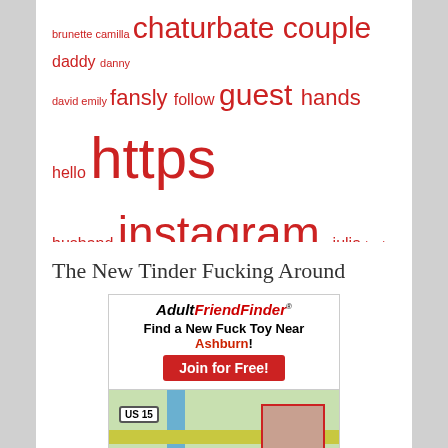[Figure (infographic): Word cloud with terms in red text at varying sizes: brunette, camilla, chaturbate (large), couple (large), daddy, danny, david, emily, fansly, follow, guest, hands, hello, https (very large), husband, instagram (large), julia, kevin, kristine, lovense, megan, melissa, molly, moscow, neighbor, online, onlyfans (very large), pleasure, private, redhead, sarah, sofia, stream (large), twitter, veronika, videos, welcome (large)]
The New Tinder Fucking Around
[Figure (screenshot): AdultFriendFinder advertisement banner with logo, tagline 'Find a New Fuck Toy Near Ashburn!', 'Join for Free!' button, and a map showing US 15 highway near Leesburg with a photo thumbnail]